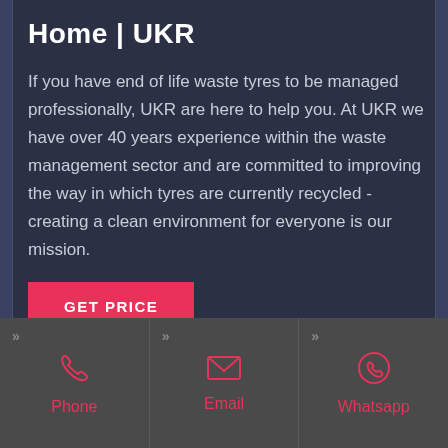Home | UKR
If you have end of life waste tyres to be managed professionally, UKR are here to help you. At UKR we have over 40 years experience within the waste management sector and are committed to improving the way in which tyres are currently recycled - creating a clean environment for everyone is our mission.
GET PRICE
Phone
Email
Whatsapp